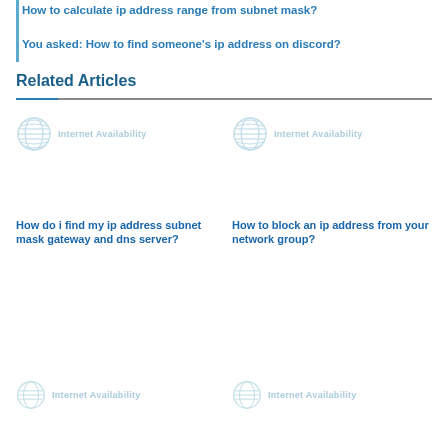How to calculate ip address range from subnet mask?
You asked: How to find someone's ip address on discord?
Related Articles
[Figure (logo): Internet Availability badge icon - top left card]
How do i find my ip address subnet mask gateway and dns server?
[Figure (logo): Internet Availability badge icon - top right card]
How to block an ip address from your network group?
[Figure (logo): Internet Availability badge icon - bottom left card]
[Figure (logo): Internet Availability badge icon - bottom right card]